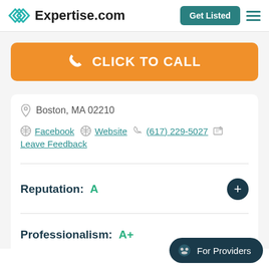Expertise.com
CLICK TO CALL
Boston, MA 02210
Facebook  Website  (617) 229-5027  Leave Feedback
Reputation: A
Professionalism: A+